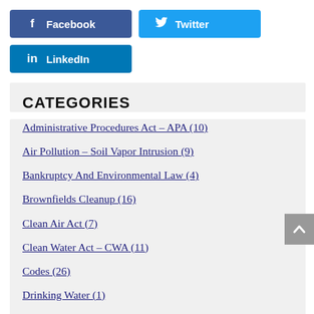[Figure (other): Facebook share button (dark blue with f icon)]
[Figure (other): Twitter share button (light blue with bird icon)]
[Figure (other): LinkedIn share button (medium blue with in icon)]
CATEGORIES
Administrative Procedures Act – APA (10)
Air Pollution – Soil Vapor Intrusion (9)
Bankruptcy And Environmental Law (4)
Brownfields Cleanup (16)
Clean Air Act (7)
Clean Water Act – CWA (11)
Codes (26)
Drinking Water (1)